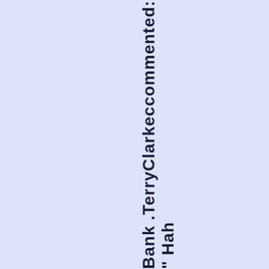Bank .TerryClarkeccommented: " Hah